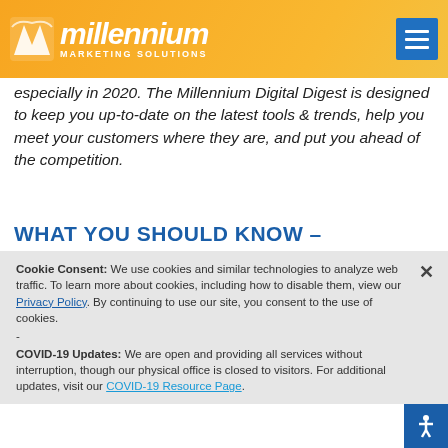millennium MARKETING SOLUTIONS
especially in 2020. The Millennium Digital Digest is designed to keep you up-to-date on the latest tools & trends, help you meet your customers where they are, and put you ahead of the competition.
WHAT YOU SHOULD KNOW – SEPTEMBER 2020
GOOGLE BUSTS SEO MYTHS
We've covered some SEO myths in the past, but this article makes a nice roundup. Google experts get together and answer some of your most pressing questions about word
Cookie Consent: We use cookies and similar technologies to analyze web traffic. To learn more about cookies, including how to disable them, view our Privacy Policy. By continuing to use our site, you consent to the use of cookies.
-
COVID-19 Updates: We are open and providing all services without interruption, though our physical office is closed to visitors. For additional updates, visit our COVID-19 Resource Page.